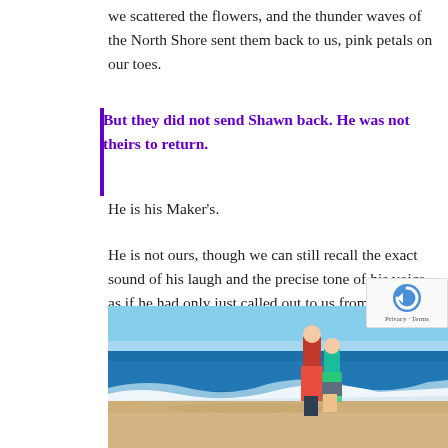we scattered the flowers, and the thunder waves of the North Shore sent them back to us, pink petals on our toes.
But they did not send Shawn back. He was not theirs to return.
He is his Maker's.
He is not ours, though we can still recall the exact sound of his laugh and the precise tone of his voice, as if he had only just called out to us from the other room.
[Figure (photo): Two people standing on a sandy beach shore with blue ocean waves, viewed from behind]